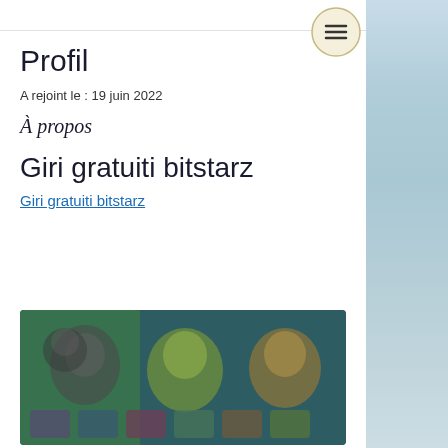Profil
A rejoint le : 19 juin 2022
À propos
Giri gratuiti bitstarz
Giri gratuiti bitstarz
[Figure (screenshot): Blurred screenshot of a gaming or casino website with colorful game thumbnails, dark background with green, teal and colorful character images]